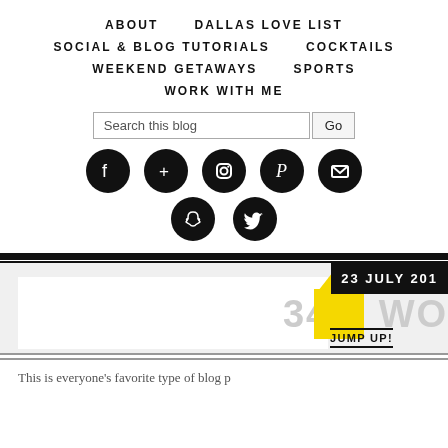ABOUT | DALLAS LOVE LIST | SOCIAL & BLOG TUTORIALS | COCKTAILS | WEEKEND GETAWAYS | SPORTS | WORK WITH ME
[Figure (screenshot): Navigation menu with social media icons including Facebook, Google+, Instagram, Pinterest, Email, Snapchat, Twitter. Search bar with 'Search this blog' placeholder and Go button.]
23 JULY 201
34 WO
JUMP UP!
This is everyone's favorite type of blog p